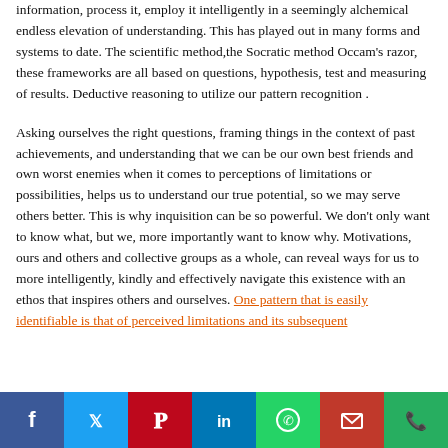information, process it, employ it intelligently in a seemingly alchemical endless elevation of understanding. This has played out in many forms and systems to date. The scientific method,the Socratic method Occam's razor, these frameworks are all based on questions, hypothesis, test and measuring of results. Deductive reasoning to utilize our pattern recognition .
Asking ourselves the right questions, framing things in the context of past achievements, and understanding that we can be our own best friends and own worst enemies when it comes to perceptions of limitations or possibilities, helps us to understand our true potential, so we may serve others better. This is why inquisition can be so powerful. We don't only want to know what, but we, more importantly want to know why. Motivations, ours and others and collective groups as a whole, can reveal ways for us to more intelligently, kindly and effectively navigate this existence with an ethos that inspires others and ourselves. One pattern that is easily identifiable is that of perceived limitations and its subsequent